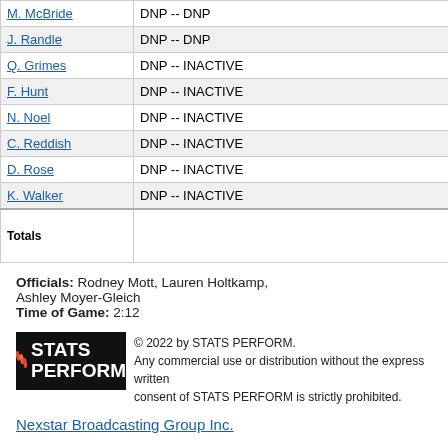| Player |  | Min | FG | FT | 3PT |  | OR | Reb | Ast | TO | Blk | Stl | PF | Pts |
| --- | --- | --- | --- | --- | --- | --- | --- | --- | --- | --- | --- | --- | --- | --- |
| M. McBride | DNP -- DNP |  |  |  |  |  |  |  |  |  |  |  |  |  |
| J. Randle | DNP -- DNP |  |  |  |  |  |  |  |  |  |  |  |  |  |
| Q. Grimes | DNP -- INACTIVE |  |  |  |  |  |  |  |  |  |  |  |  |  |
| F. Hunt | DNP -- INACTIVE |  |  |  |  |  |  |  |  |  |  |  |  |  |
| N. Noel | DNP -- INACTIVE |  |  |  |  |  |  |  |  |  |  |  |  |  |
| C. Reddish | DNP -- INACTIVE |  |  |  |  |  |  |  |  |  |  |  |  |  |
| D. Rose | DNP -- INACTIVE |  |  |  |  |  |  |  |  |  |  |  |  |  |
| K. Walker | DNP -- INACTIVE |  |  |  |  |  |  |  |  |  |  |  |  |  |
| Totals |  | 240 | 31-77 (.403) | 26-34 (.765) | 13-30 (.433) | - | 6 | 35 | 19 | 4 | 6 | 10 | 19 | 10 |
Officials: Rodney Mott, Lauren Holtkamp, Ashley Moyer-Gleich
Time of Game: 2:12
[Figure (logo): STATS PERFORM logo with red/orange slash marks on black background]
© 2022 by STATS PERFORM. Any commercial use or distribution without the express written consent of STATS PERFORM is strictly prohibited.
Nexstar Broadcasting Group Inc.